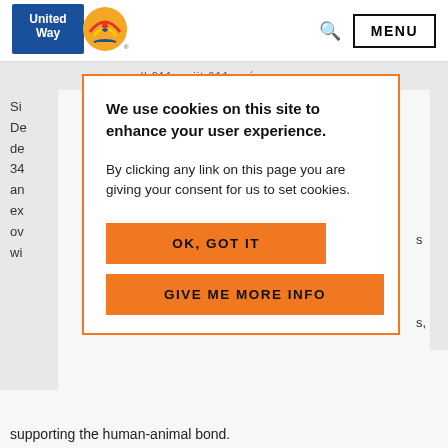[Figure (logo): United Way logo with blue text box reading 'United Way' and orange circular emblem with rainbow and hands]
MENU
[Figure (screenshot): Background page content partially visible behind modal overlay, showing truncated text lines including 'Si...', 'De...', 'de...', '34...', 'an...', 'ex...', 'ov...', 'wi...' and at the bottom 'supporting the human-animal bond.']
We use cookies on this site to enhance your user experience.
By clicking any link on this page you are giving your consent for us to set cookies.
OK, GOT IT
GIVE ME MORE INFO
supporting the human-animal bond.